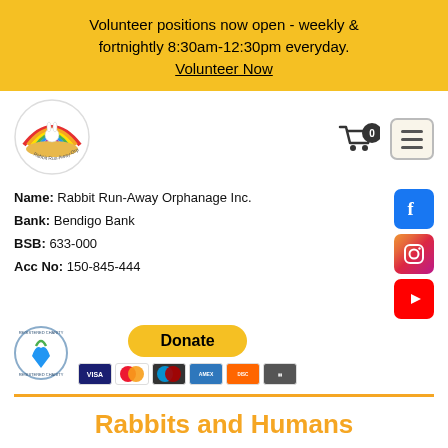Volunteer positions now open - weekly & fortnightly 8:30am-12:30pm everyday. Volunteer Now
[Figure (logo): Rabbit Run-Away Orphanage logo - circular rainbow with rabbit]
[Figure (infographic): Shopping cart icon with 0 badge and hamburger menu button]
Name: Rabbit Run-Away Orphanage Inc.
Bank: Bendigo Bank
BSB: 633-000
Acc No: 150-845-444
[Figure (infographic): Facebook, Instagram and YouTube social media icons on the right side]
[Figure (logo): Registered Charity circular badge logo]
[Figure (infographic): Donate button and payment card icons: Visa, Mastercard, Maestro, Amex, Discover, other]
Rabbits and Humans
Rabbits are delicate, affectionate and lovable creatures that can bond with their owners and the right companion